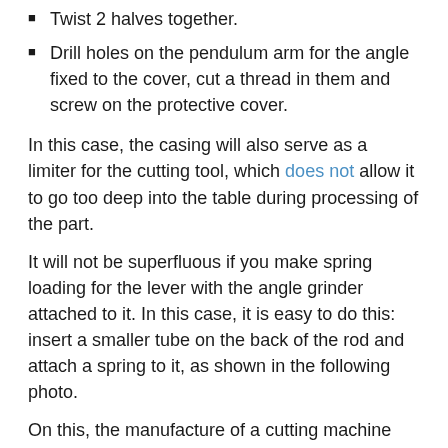Twist 2 halves together.
Drill holes on the pendulum arm for the angle fixed to the cover, cut a thread in them and screw on the protective cover.
In this case, the casing will also serve as a limiter for the cutting tool, which does not allow it to go too deep into the table during processing of the part.
It will not be superfluous if you make spring loading for the lever with the angle grinder attached to it. In this case, it is easy to do this: insert a smaller tube on the back of the rod and attach a spring to it, as shown in the following photo.
On this, the manufacture of a cutting machine with your own hands, in which an angle grinder is used as a drive, can be considered complete.
Homemade attachments for